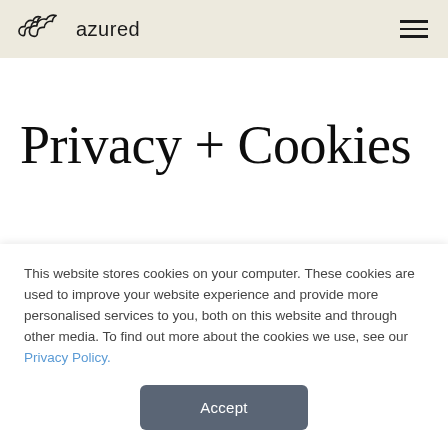azured
Privacy + Cookies
This website is operated by Azured UK and our registered address is Azured UK Ltd, BT Innovation, Base Building...
This website stores cookies on your computer. These cookies are used to improve your website experience and provide more personalised services to you, both on this website and through other media. To find out more about the cookies we use, see our Privacy Policy.
Accept